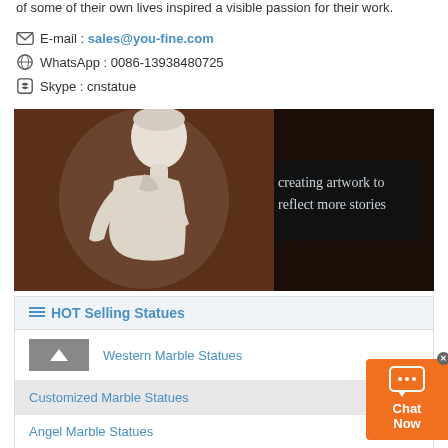of some of their own lives inspired a visible passion for their work.
E-mail : sales@you-fine.com
WhatsApp : 0086-13938480725
Skype : cnstatue
[Figure (photo): A white marble statue of a female figure with text overlay reading 'creating artwork to reflect more stories' on a dark background]
HOT Selling Statues
Western Marble Statues
Customized Marble Statues
Angel Marble Statues